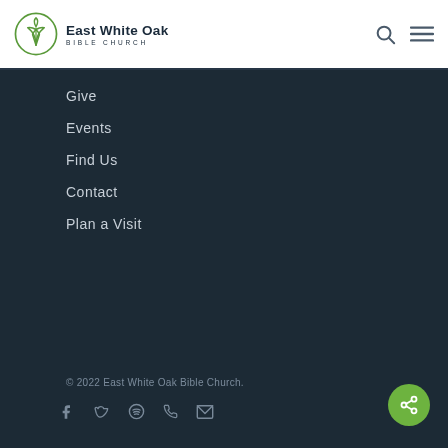East White Oak Bible Church
Give
Events
Find Us
Contact
Plan a Visit
© 2022 East White Oak Bible Church.